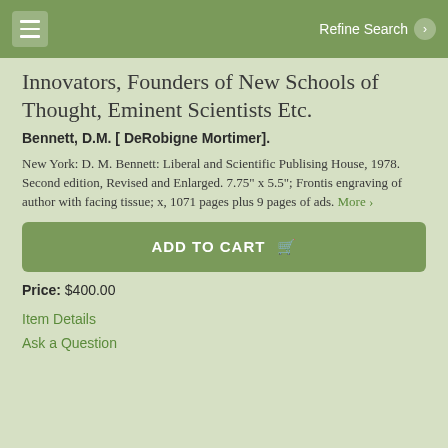Refine Search
Innovators, Founders of New Schools of Thought, Eminent Scientists Etc.
Bennett, D.M. [ DeRobigne Mortimer].
New York: D. M. Bennett: Liberal and Scientific Publising House, 1978. Second edition, Revised and Enlarged. 7.75" x 5.5"; Frontis engraving of author with facing tissue; x, 1071 pages plus 9 pages of ads. More ›
ADD TO CART
Price: $400.00
Item Details
Ask a Question